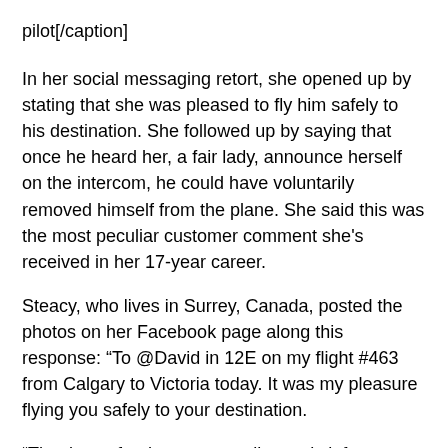pilot[/caption]
In her social messaging retort, she opened up by stating that she was pleased to fly him safely to his destination. She followed up by saying that once he heard her, a fair lady, announce herself on the intercom, he could have voluntarily removed himself from the plane. She said this was the most peculiar customer comment she's received in her 17-year career.
Steacy, who lives in Surrey, Canada, posted the photos on her Facebook page along this response: “To @David in 12E on my flight #463 from Calgary to Victoria today. It was my pleasure flying you safely to your destination.
“Thank you for the note you discreetly left me on your seat. You made sure to ask the flight attendants before we left if I had enough hours to be the Captain so safety is important to you, too.